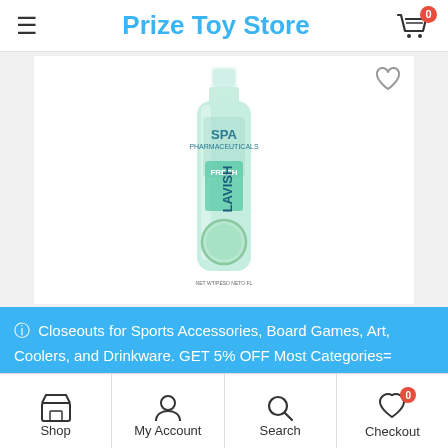Prize Toy Store
[Figure (photo): SPA Lavish Fresh body spray product in a light green bottle with a circular design on the front]
ⓘ Closeouts for Sports Accessories, Board Games, Art, Coolers, and Drinkware. GET 5% OFF Most Categories= COUPON CODE – PRIZE5OFF1
Dismiss
$11.??
Shop  My Account  Search  Checkout